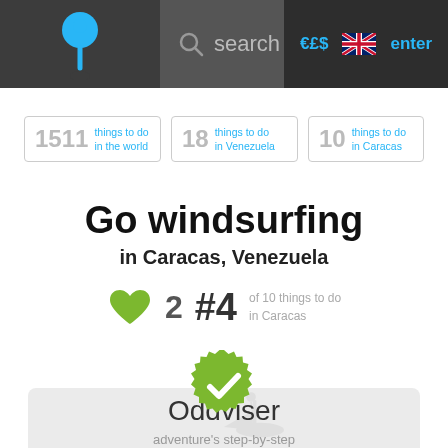search | €£$ | [UK flag] | enter
1511 things to do in the world
18 things to do in Venezuela
10 things to do in Caracas
Go windsurfing in Caracas, Venezuela
♥ 2  #4 of 10 things to do in Caracas
[Figure (logo): Oddviser green badge/seal icon with checkmark]
Oddviser
adventure's step-by-step recipes & lifehacks